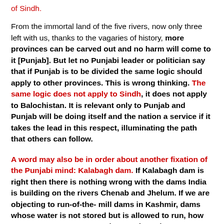of Sindh.
From the immortal land of the five rivers, now only three left with us, thanks to the vagaries of history, more provinces can be carved out and no harm will come to it [Punjab]. But let no Punjabi leader or politician say that if Punjab is to be divided the same logic should apply to other provinces. This is wrong thinking. The same logic does not apply to Sindh, it does not apply to Balochistan. It is relevant only to Punjab and Punjab will be doing itself and the nation a service if it takes the lead in this respect, illuminating the path that others can follow.
A word may also be in order about another fixation of the Punjabi mind: Kalabagh dam. If Kalabagh dam is right then there is nothing wrong with the dams India is building on the rivers Chenab and Jhelum. If we are objecting to run-of-the-mill dams in Kashmir, dams whose water is not stored but is allowed to run, how can we support a storage dam on the Indus at Kalabagh? The logic just does not hold...